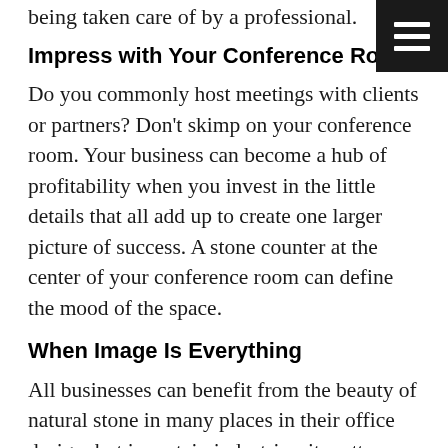being taken care of by a professional.
Impress with Your Conference Room
Do you commonly host meetings with clients or partners? Don't skimp on your conference room. Your business can become a hub of profitability when you invest in the little details that all add up to create one larger picture of success. A stone counter at the center of your conference room can define the mood of the space.
When Image Is Everything
All businesses can benefit from the beauty of natural stone in many places in their office design, but in certain industries, it matters more. Lawyers, accountants, builders, doctors — all these professionals want their clients to immediately trust their expertise and professionalism, and stone counters can help.